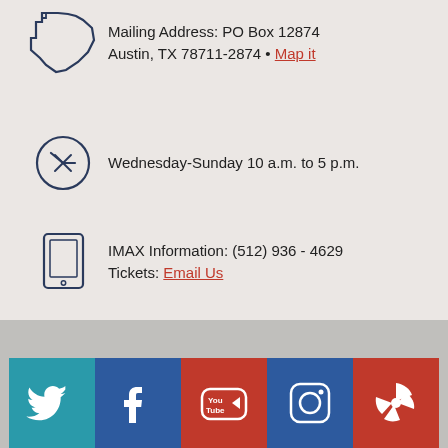Mailing Address: PO Box 12874
Austin, TX 78711-2874 • Map it
Wednesday-Sunday 10 a.m. to 5 p.m.
IMAX Information: (512) 936 - 4629
Tickets: Email Us
ContactUs@TheStoryofTexas.com
[Figure (infographic): Social media icons row: Twitter, Facebook, YouTube, Instagram, Yelp]